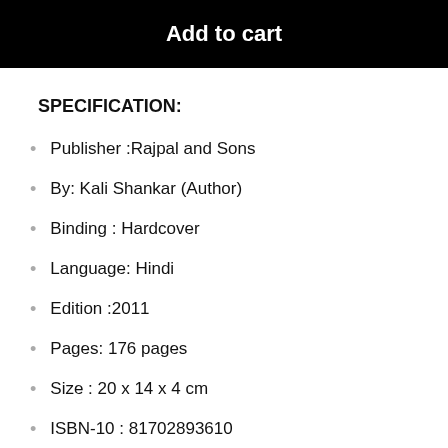[Figure (screenshot): Black 'Add to cart' button bar]
SPECIFICATION:
Publisher :Rajpal and Sons
By:  Kali Shankar (Author)
Binding : Hardcover
Language: Hindi
Edition :2011
Pages: 176 pages
Size : 20 x 14 x 4 cm
ISBN-10 : 81702893610
ISBN-13: 9788170289364